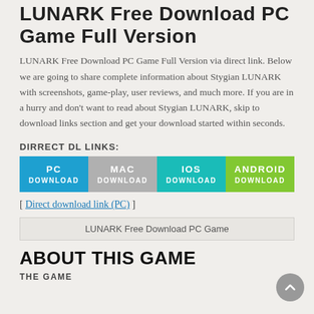LUNARK Free Download PC Game Full Version
LUNARK Free Download PC Game Full Version via direct link. Below we are going to share complete information about Stygian LUNARK with screenshots, game-play, user reviews, and much more. If you are in a hurry and don't want to read about Stygian LUNARK, skip to download links section and get your download started within seconds.
DIRRECT DL LINKS:
[Figure (infographic): Four download buttons: PC DOWNLOAD (blue), MAC DOWNLOAD (gray), IOS DOWNLOAD (teal), ANDROID DOWNLOAD (green)]
[ Direct download link (PC) ]
LUNARK Free Download PC Game
ABOUT THIS GAME
THE GAME